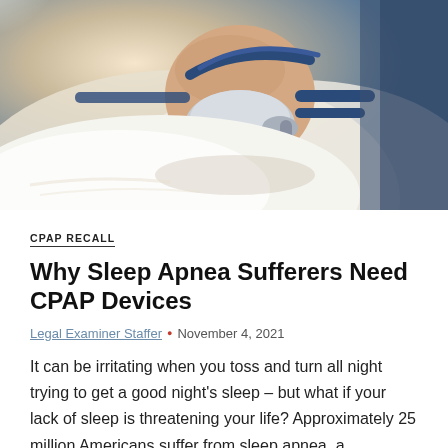[Figure (photo): Person sleeping in bed wearing a CPAP mask with blue straps, lying on white pillow wearing white top, soft warm lighting]
CPAP RECALL
Why Sleep Apnea Sufferers Need CPAP Devices
Legal Examiner Staffer • November 4, 2021
It can be irritating when you toss and turn all night trying to get a good night's sleep – but what if your lack of sleep is threatening your life? Approximately 25 million Americans suffer from sleep apnea, a potentially